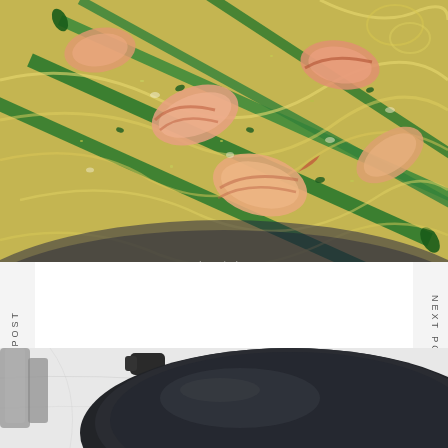[Figure (photo): Close-up photo of shrimp scampi pasta with asparagus in a dark bowl. Spaghetti with large shrimp, green asparagus spears, herbs and parmesan.]
PREVIOUS POST
NEXT POST
Shrimp Scampi Pasta with Asparagus (VIDEO
[Figure (photo): Partial bottom photo showing a dark cast iron or non-stick pan on a light marble surface.]